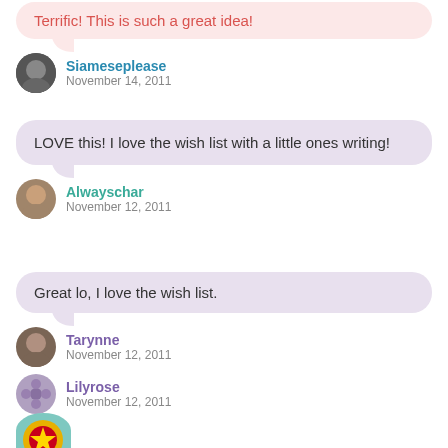Terrific! This is such a great idea!
Siameseplease
November 14, 2011
LOVE this! I love the wish list with a little ones writing!
Alwayschar
November 12, 2011
Great lo, I love the wish list.
Tarynne
November 12, 2011
Lilyrose
November 12, 2011